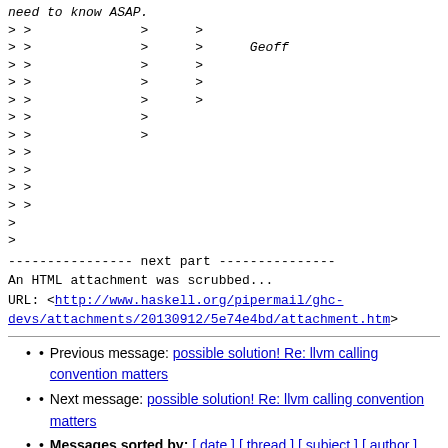need to know ASAP.
> >              >      >
> >              >      >      Geoff
> >              >      >
> >              >      >
> >              >      >
> >              >
> >              >
> >
> >
> >
> >
>
>
---------------- next part ---------------
An HTML attachment was scrubbed...
URL: <http://www.haskell.org/pipermail/ghc-devs/attachments/20130912/5e74e4bd/attachment.htm>
Previous message: possible solution! Re: llvm calling convention matters
Next message: possible solution! Re: llvm calling convention matters
Messages sorted by: [ date ] [ thread ] [ subject ] [ author ]
More information about the ghc-devs mailing list